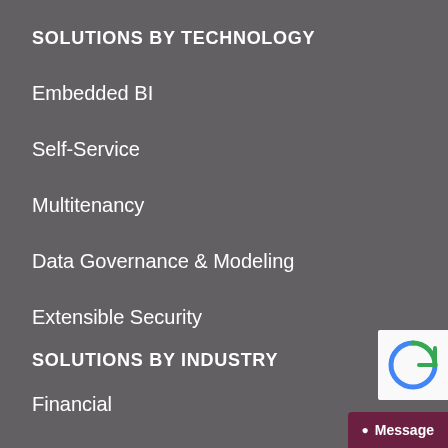SOLUTIONS BY TECHNOLOGY
Embedded BI
Self-Service
Multitenancy
Data Governance & Modeling
Extensible Security
SOLUTIONS BY INDUSTRY
Financial
Insurance
Manufacturing